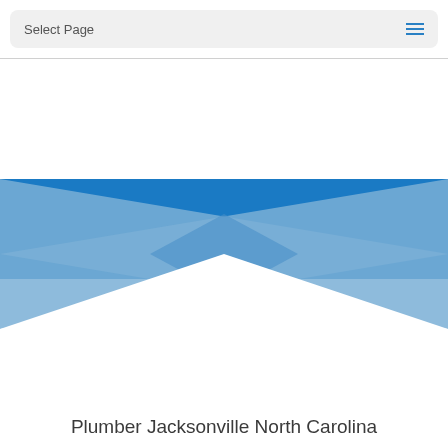Select Page
[Figure (illustration): Decorative graphic with two overlapping triangular blue shapes forming an X or bow-tie pattern against a white background. The shapes are rendered in medium blue and light steel blue colors.]
Plumber Jacksonville North Carolina